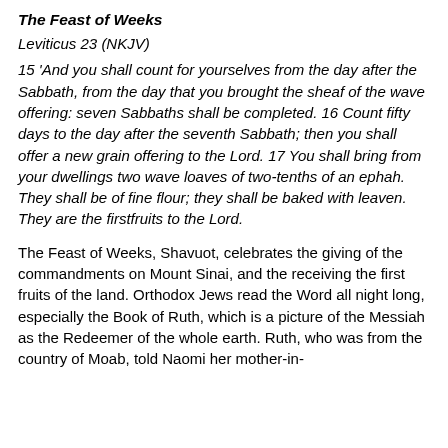The Feast of Weeks
Leviticus 23 (NKJV)
15 ‘And you shall count for yourselves from the day after the Sabbath, from the day that you brought the sheaf of the wave offering: seven Sabbaths shall be completed. 16 Count fifty days to the day after the seventh Sabbath; then you shall offer a new grain offering to the Lord. 17 You shall bring from your dwellings two wave loaves of two-tenths of an ephah. They shall be of fine flour; they shall be baked with leaven. They are the firstfruits to the Lord.
The Feast of Weeks, Shavuot, celebrates the giving of the commandments on Mount Sinai, and the receiving the first fruits of the land. Orthodox Jews read the Word all night long, especially the Book of Ruth, which is a picture of the Messiah as the Redeemer of the whole earth. Ruth, who was from the country of Moab, told Naomi her mother-in-